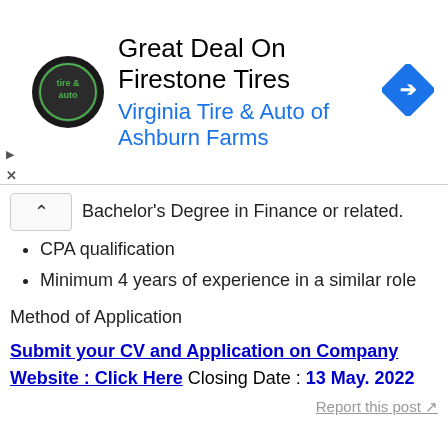[Figure (advertisement): Ad banner for Virginia Tire & Auto of Ashburn Farms with logo, title 'Great Deal On Firestone Tires', and a blue navigation direction icon]
Bachelor's Degree in Finance or related.
CPA qualification
Minimum 4 years of experience in a similar role
Method of Application
Submit your CV and Application on Company Website : Click Here Closing Date : 13 May. 2022
Report this post